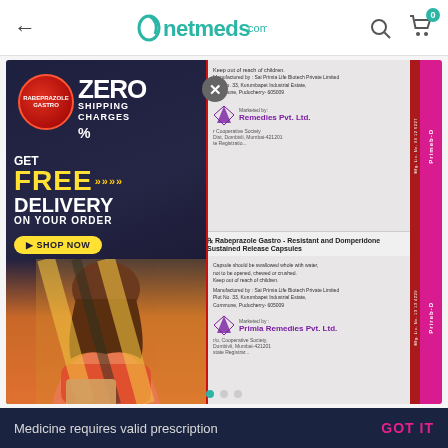netmeds.com
[Figure (screenshot): Netmeds.com mobile app screenshot showing a promotional overlay with 'ZERO SHIPPING CHARGES' and 'GET FREE DELIVERY ON YOUR ORDER' advertisement overlaid on a medicine product page showing Rabeprazole Gastro-Resistant and Domperidone Sustained Release Capsules blister pack by Primia Remedies Pvt. Ltd., with a close (X) button visible]
Medicine requires valid prescription   GOT IT